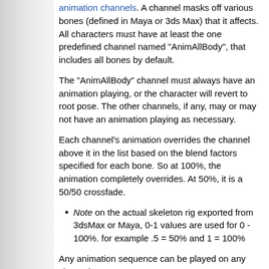A character will have one or more named animation channels. A channel masks off various bones (defined in Maya or 3ds Max) that it affects. All characters must have at least the one predefined channel named "AnimAllBody", that includes all bones by default.
The "AnimAllBody" channel must always have an animation playing, or the character will revert to root pose. The other channels, if any, may or may not have an animation playing as necessary.
Each channel's animation overrides the channel above it in the list based on the blend factors specified for each bone. So at 100%, the animation completely overrides. At 50%, it is a 50/50 crossfade.
Note on the actual skeleton rig exported from 3dsMax or Maya, 0-1 values are used for 0 - 100%. for example .5 = 50% and 1 = 100%
Any animation sequence can be played on any channel.